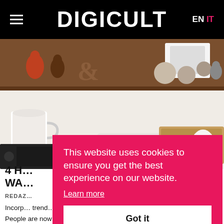DIGICULT  EN  IT
[Figure (photo): Overhead view of a workspace desk with a coffee mug, keyboard, mouse, wooden cutting board, small decorative figurines and objects on a wooden shelf above]
4 H... WA...
REDAZ...
Incorp... trend... People are now more willing to spend money on home-
This website uses cookies to ensure you get the best experience on our website. Learn more  Got it